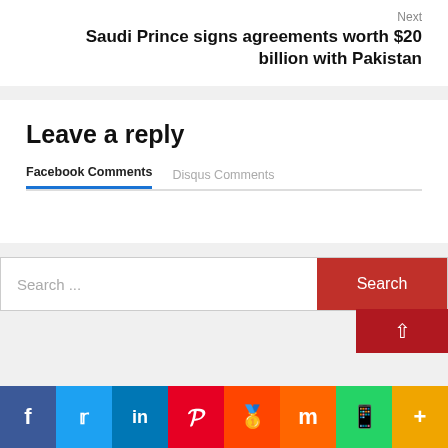Next
Saudi Prince signs agreements worth $20 billion with Pakistan
Leave a reply
Facebook Comments	Disqus Comments
Search ...
Search
[Figure (infographic): Social media sharing icons bar: Facebook (blue), Twitter (light blue), LinkedIn (dark blue), Pinterest (red), Reddit (orange-red), Mix (orange), WhatsApp (green), More (yellow/gold)]